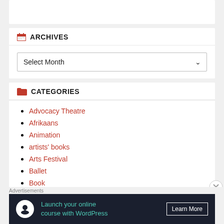ARCHIVES
Select Month
CATEGORIES
Advocacy Theatre
Afrikaans
Animation
artists' books
Arts Festival
Ballet
Book
Advertisements
[Figure (infographic): Advertisement banner: Launch your online course with WordPress. Learn More button. Dark background with teal text and white circle icon.]